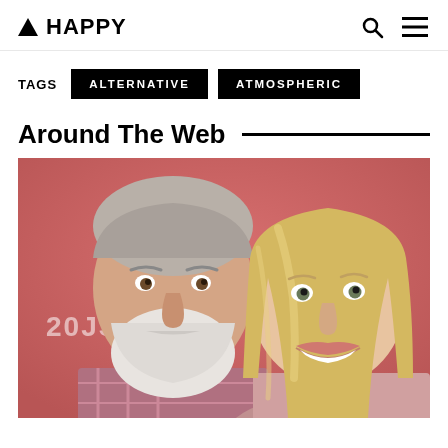▲ HAPPY
TAGS  ALTERNATIVE  ATMOSPHERIC
Around The Web
[Figure (photo): Two people posing in front of a pink/red background with partial text visible. An older man with a white beard wearing a plaid shirt on the left, and a blonde woman smiling on the right.]